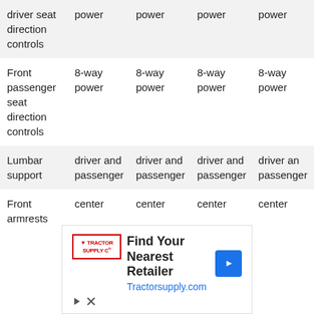| Feature | Trim 1 | Trim 2 | Trim 3 | Trim 4 |
| --- | --- | --- | --- | --- |
| driver seat direction controls | power | power | power | power |
| Front passenger seat direction controls | 8-way power | 8-way power | 8-way power | 8-way power |
| Lumbar support | driver and passenger | driver and passenger | driver and passenger | driver and passenger |
| Front armrests | center | center | center | center |
[Figure (infographic): Advertisement banner for Tractor Supply Co. with text 'Find Your Nearest Retailer' and URL Tractorsupply.com, featuring a blue diamond navigation icon.]